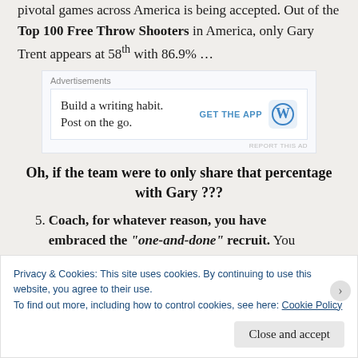pivotal games across America is being accepted. Out of the Top 100 Free Throw Shooters in America, only Gary Trent appears at 58th with 86.9% …
[Figure (other): WordPress advertisement banner: 'Build a writing habit. Post on the go.' with GET THE APP button and WordPress logo]
Oh, if the team were to only share that percentage with Gary ???
5. Coach, for whatever reason, you have embraced the "one-and-done" recruit. You have used the strange
Privacy & Cookies: This site uses cookies. By continuing to use this website, you agree to their use. To find out more, including how to control cookies, see here: Cookie Policy
Close and accept